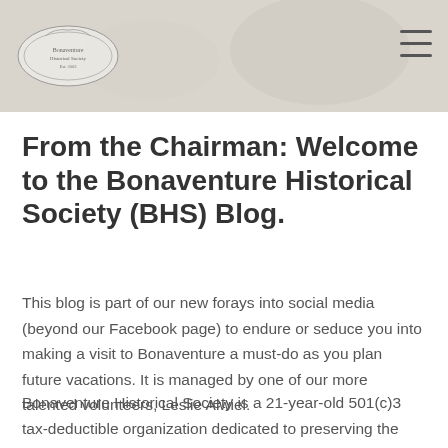[Figure (photo): Header banner image showing a faded background photo (cemetery/historical scene) with a decorative logo on the left and a hamburger menu icon on the right]
From the Chairman: Welcome to the Bonaventure Historical Society (BHS) Blog.
This blog is part of our new forays into social media (beyond our Facebook page) to endure or seduce you into making a visit to Bonaventure a must-do as you plan future vacations.  It is managed by one of our more talented volunteers, Leslie Alwiel.
Bonaventure Historical Society is a 21-year-old 501(c)3 tax-deductible organization dedicated to preserving the history and legacy of Bonaventure Cemetery in Savannah GA.  Bonaventure Cemetery is a National Landmark